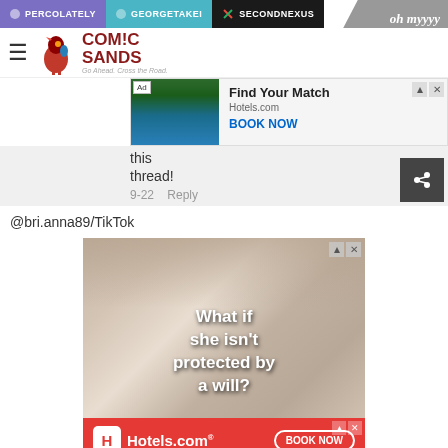PERCOLATELY  GEORGETAKEI  SECONDNEXUS
[Figure (logo): Comic Sands website header with rooster logo and hamburger menu]
[Figure (screenshot): Hotels.com advertisement banner: Find Your Match - Hotels.com - BOOK NOW]
this thread!
9-22   Reply
@bri.anna89/TikTok
[Figure (screenshot): Video advertisement showing baby with text: What if she isn't protected by a will?]
[Figure (screenshot): Hotels.com bottom advertisement banner with BOOK NOW button]